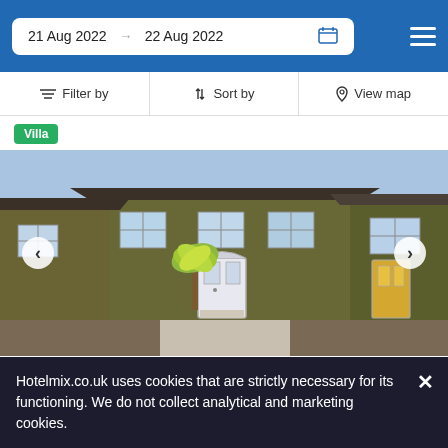21 Aug 2022  22 Aug 2022
Filter by  Sort by  View map
Villa
[Figure (photo): Exterior photo of a terraced brick house with ivy-covered walls, white front door, a palm-like plant in the garden, and a wooden fence. Left and right navigation arrows visible.]
[Figure (infographic): Amenity icons: WiFi, Parking (P), Oven/Stove, Person/Services icon]
Hotelmix.co.uk uses cookies that are strictly necessary for its functioning. We do not collect analytical and marketing cookies.
rvative Club